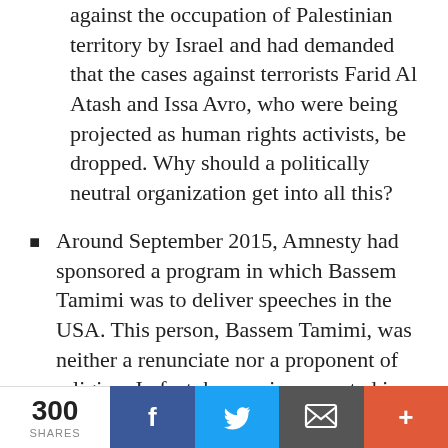against the occupation of Palestinian territory by Israel and had demanded that the cases against terrorists Farid Al Atash and Issa Avro, who were being projected as human rights activists, be dropped. Why should a politically neutral organization get into all this?
Around September 2015, Amnesty had sponsored a program in which Bassem Tamimi was to deliver speeches in the USA. This person, Bassem Tamimi, was neither a renunciate nor a proponent of religion. In fact, he was incarcerated in the year 2012 on the charges of encouraging stone pelting against Israeli forces!
300 SHARES | Facebook | Twitter | Email | More